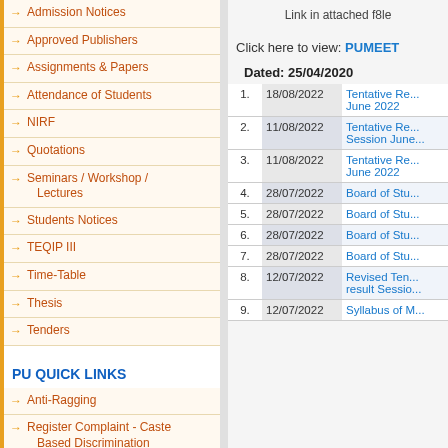Admission Notices
Approved Publishers
Assignments & Papers
Attendance of Students
NIRF
Quotations
Seminars / Workshop / Lectures
Students Notices
TEQIP III
Time-Table
Thesis
Tenders
PU QUICK LINKS
Anti-Ragging
Register Complaint - Caste Based Discrimination
Webcast/Videos
University Events
PU Committee Against Sexual Harassment (PUCASH)
Link in attached f8le
Click here to view: PUMEET
Dated: 25/04/2020
| # | Date | Title |
| --- | --- | --- |
| 1. | 18/08/2022 | Tentative Re... June 2022 |
| 2. | 11/08/2022 | Tentative Re... Session June... |
| 3. | 11/08/2022 | Tentative Re... June 2022 |
| 4. | 28/07/2022 | Board of Stu... |
| 5. | 28/07/2022 | Board of Stu... |
| 6. | 28/07/2022 | Board of Stu... |
| 7. | 28/07/2022 | Board of Stu... |
| 8. | 12/07/2022 | Revised Ten... result Sessio... |
| 9. | 12/07/2022 | Syllabus of M... |